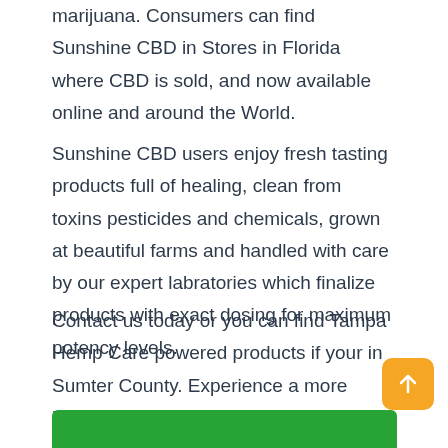marijuana. Consumers can find Sunshine CBD in Stores in Florida where CBD is sold, and now available online and around the World.
Sunshine CBD users enjoy fresh tasting products full of healing, clean from toxins pesticides and chemicals, grown at beautiful farms and handled with care by our expert labratories which finalize products with exact dosing for maximum potency levels.
Contact us today or you can find Tampa Hemp Care powered products if your in Sumter County. Experience a more balanced relief for whats bothering you to achieve a new overall health and well being for yourself.